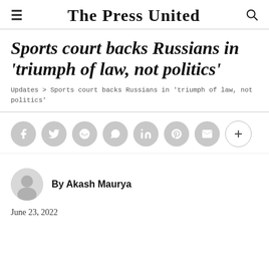The Press United
Sports court backs Russians in 'triumph of law, not politics'
Updates > Sports court backs Russians in 'triumph of law, not politics'
[Figure (other): Social sharing buttons: Facebook, Twitter, Reddit, WhatsApp, LinkedIn, Pinterest, Email, More]
[Figure (other): Author avatar placeholder circle]
By Akash Maurya
June 23, 2022